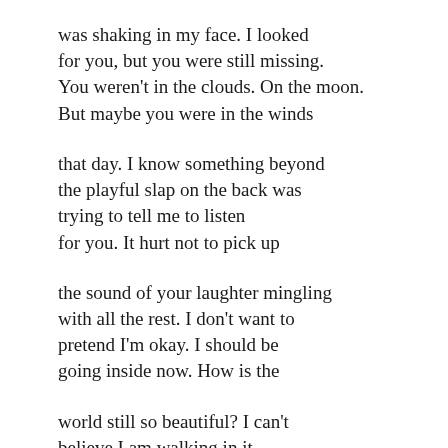was shaking in my face. I looked
for you, but you were still missing.
You weren't in the clouds. On the moon.
But maybe you were in the winds
that day. I know something beyond
the playful slap on the back was
trying to tell me to listen
for you. It hurt not to pick up
the sound of your laughter mingling
with all the rest. I don't want to
pretend I'm okay. I should be
going inside now. How is the
world still so beautiful? I can't
believe I am walking in it
like I just might belong. I don't.
I've never. I mean not without